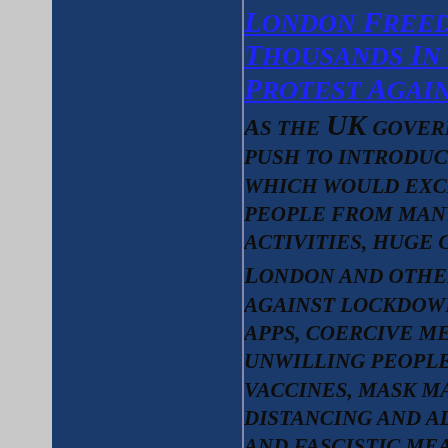London Freedom Rally Thousands In Trafalgar Protest Against Covid...
As the UK government push to introduce vaccine passports which would exclude people from many basic activities, huge crowds in London and other UK cities protest against lockdowns, track and trace apps, coercive measures to force unwilling people to accept vaccines, mask mandates, social distancing and all these tyrannical and fascistic measures...